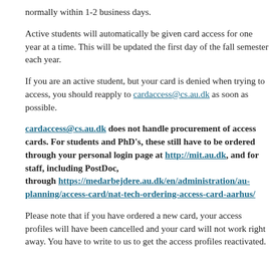normally within 1-2 business days.
Active students will automatically be given card access for one year at a time. This will be updated the first day of the fall semester each year.
If you are an active student, but your card is denied when trying to access, you should reapply to cardaccess@cs.au.dk as soon as possible.
cardaccess@cs.au.dk does not handle procurement of access cards. For students and PhD's, these still have to be ordered through your personal login page at http://mit.au.dk, and for staff, including PostDoc, through https://medarbejdere.au.dk/en/administration/au-planning/access-card/nat-tech-ordering-access-card-aarhus/
Please note that if you have ordered a new card, your access profiles will have been cancelled and your card will not work right away. You have to write to us to get the access profiles reactivated.